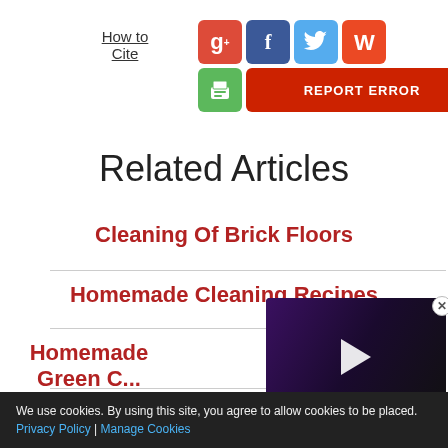How to Cite
[Figure (infographic): Social share buttons: Google+, Facebook, Twitter, StumbleUpon, Print, Report Error]
Related Articles
Cleaning Of Brick Floors
Homemade Cleaning Recipes
Homemade Green C...
Spring Clea...
[Figure (screenshot): Video overlay thumbnail: INSIDE STALLONE'S FAMILY STRUGGLES with play button]
We use cookies. By using this site, you agree to allow cookies to be placed. Privacy Policy | Manage Cookies